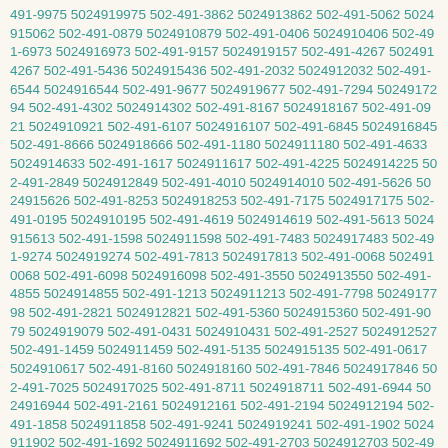491-9975 5024919975 502-491-3862 5024913862 502-491-5062 5024915062 502-491-0879 5024910879 502-491-0406 5024910406 502-491-6973 5024916973 502-491-9157 5024919157 502-491-4267 5024914267 502-491-5436 5024915436 502-491-2032 5024912032 502-491-6544 5024916544 502-491-9677 5024919677 502-491-7294 5024917294 502-491-4302 5024914302 502-491-8167 5024918167 502-491-0921 5024910921 502-491-6107 5024916107 502-491-6845 5024916845 502-491-8666 5024918666 502-491-1180 5024911180 502-491-4633 5024914633 502-491-1617 5024911617 502-491-4225 5024914225 502-491-2849 5024912849 502-491-4010 5024914010 502-491-5626 5024915626 502-491-8253 5024918253 502-491-7175 5024917175 502-491-0195 5024910195 502-491-4619 5024914619 502-491-5613 5024915613 502-491-1598 5024911598 502-491-7483 5024917483 502-491-9274 5024919274 502-491-7813 5024917813 502-491-0068 5024910068 502-491-6098 5024916098 502-491-3550 5024913550 502-491-4855 5024914855 502-491-1213 5024911213 502-491-7798 5024917798 502-491-2821 5024912821 502-491-5360 5024915360 502-491-9079 5024919079 502-491-0431 5024910431 502-491-2527 5024912527 502-491-1459 5024911459 502-491-5135 5024915135 502-491-0617 5024910617 502-491-8160 5024918160 502-491-7846 5024917846 502-491-7025 5024917025 502-491-8711 5024918711 502-491-6944 5024916944 502-491-2161 5024912161 502-491-2194 5024912194 502-491-1858 5024911858 502-491-9241 5024919241 502-491-1902 5024911902 502-491-1692 5024911692 502-491-2703 5024912703 502-491-1783 5024911783 502-491-5783 5024915783 502-491-7744 5024917744 502-491-8082 5024918082 502-491-7900 5024917900 502-491-8468 5024918468 502-491-0901